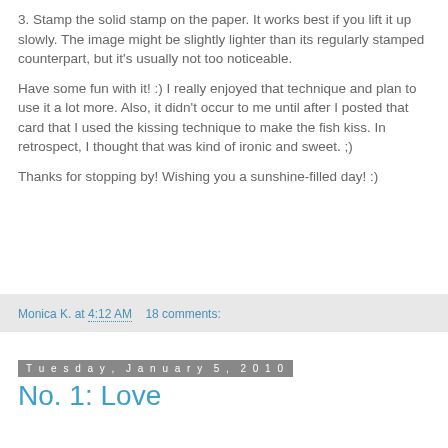3. Stamp the solid stamp on the paper. It works best if you lift it up slowly. The image might be slightly lighter than its regularly stamped counterpart, but it's usually not too noticeable.
Have some fun with it! :) I really enjoyed that technique and plan to use it a lot more. Also, it didn't occur to me until after I posted that card that I used the kissing technique to make the fish kiss. In retrospect, I thought that was kind of ironic and sweet. ;)
Thanks for stopping by! Wishing you a sunshine-filled day! :)
Monica K. at 4:12 AM    18 comments:
Tuesday, January 5, 2010
No. 1: Love